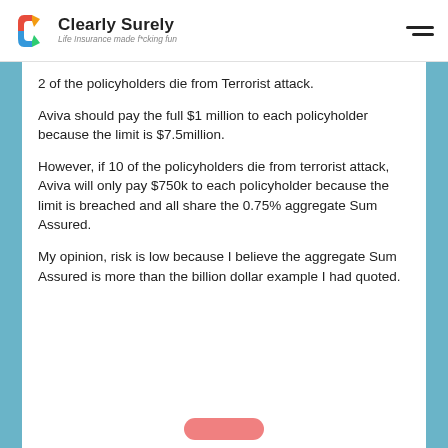Clearly Surely — Life Insurance made f*cking fun
2 of the policyholders die from Terrorist attack.
Aviva should pay the full $1 million to each policyholder because the limit is $7.5million.
However, if 10 of the policyholders die from terrorist attack, Aviva will only pay $750k to each policyholder because the limit is breached and all share the 0.75% aggregate Sum Assured.
My opinion, risk is low because I believe the aggregate Sum Assured is more than the billion dollar example I had quoted.